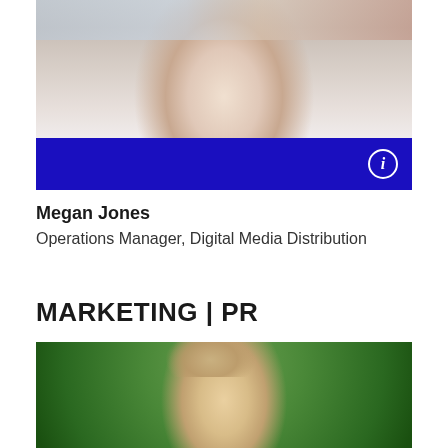[Figure (photo): Portrait photo of a woman in a white blouse, cropped at the upper torso and neck, with reddish-brown hair, against a light background]
Megan Jones
Operations Manager, Digital Media Distribution
MARKETING | PR
[Figure (photo): Portrait photo of a woman with blonde hair against a green outdoor background, cropped showing face and top of head]